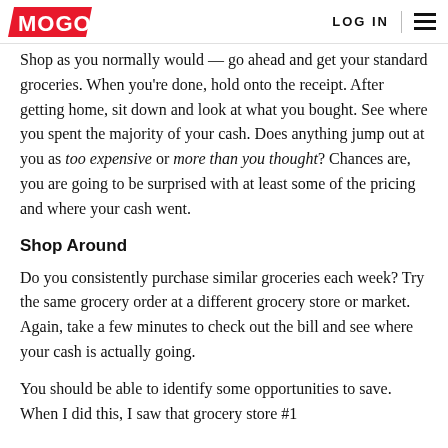MOGO | LOG IN
Shop as you normally would — go ahead and get your standard groceries. When you're done, hold onto the receipt. After getting home, sit down and look at what you bought. See where you spent the majority of your cash. Does anything jump out at you as too expensive or more than you thought? Chances are, you are going to be surprised with at least some of the pricing and where your cash went.
Shop Around
Do you consistently purchase similar groceries each week? Try the same grocery order at a different grocery store or market. Again, take a few minutes to check out the bill and see where your cash is actually going.
You should be able to identify some opportunities to save. When I did this, I saw that grocery store #1